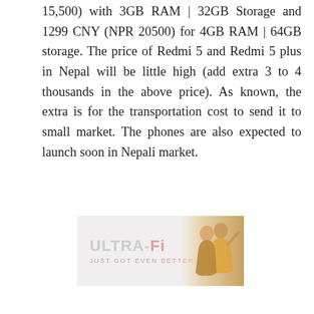15,500) with 3GB RAM | 32GB Storage and 1299 CNY (NPR 20500) for 4GB RAM | 64GB storage. The price of Redmi 5 and Redmi 5 plus in Nepal will be little high (add extra 3 to 4 thousands in the above price). As known, the extra is for the transportation cost to send it to small market. The phones are also expected to launch soon in Nepali market.
[Figure (other): Advertisement banner for ULTRA-Fi with text 'JUST GOT EVEN BETTER' and two people (a couple) on the right side]